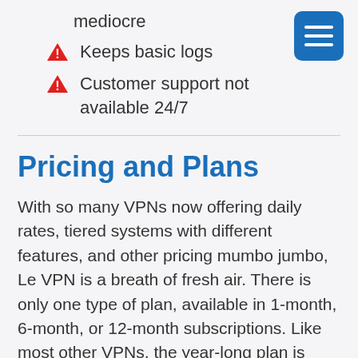mediocre
Keeps basic logs
Customer support not available 24/7
Pricing and Plans
With so many VPNs now offering daily rates, tiered systems with different features, and other pricing mumbo jumbo, Le VPN is a breath of fresh air. There is only one type of plan, available in 1-month, 6-month, or 12-month subscriptions. Like most other VPNs, the year-long plan is